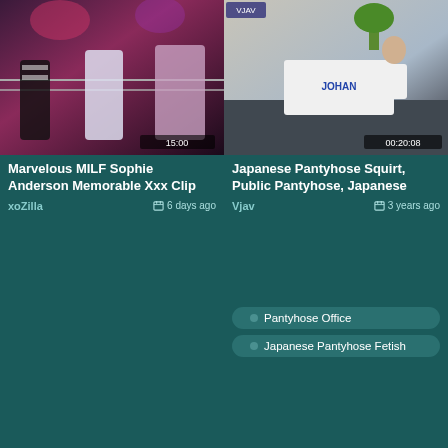[Figure (screenshot): Video thumbnail showing wrestling ring scene with referee and blonde woman]
Marvelous MILF Sophie Anderson Memorable Xxx Clip
xoZilla   6 days ago
[Figure (screenshot): Video thumbnail showing office scene with desk labeled JOHAN]
Japanese Pantyhose Squirt, Public Pantyhose, Japanese
Vjav   3 years ago
Pantyhose Office
Japanese Pantyhose Fetish
[Figure (screenshot): Video thumbnail showing bedroom bunk bed scene]
[Figure (screenshot): Video thumbnail showing Japanese room scene]